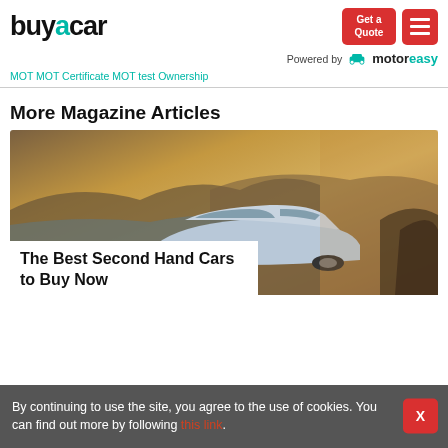[Figure (logo): buyacar logo with teal 'a' letter]
Get a Quote
Powered by motoreasy
MOT MOT Certificate MOT test Ownership
More Magazine Articles
[Figure (photo): Car near coastal cliffs at sunset - article image for The Best Second Hand Cars to Buy Now]
The Best Second Hand Cars to Buy Now
By continuing to use the site, you agree to the use of cookies. You can find out more by following this link.